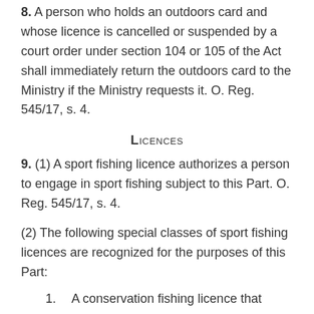8. A person who holds an outdoors card and whose licence is cancelled or suspended by a court order under section 104 or 105 of the Act shall immediately return the outdoors card to the Ministry if the Ministry requests it. O. Reg. 545/17, s. 4.
Licences
9. (1) A sport fishing licence authorizes a person to engage in sport fishing subject to this Part. O. Reg. 545/17, s. 4.
(2) The following special classes of sport fishing licences are recognized for the purposes of this Part:
1.  A conservation fishing licence that